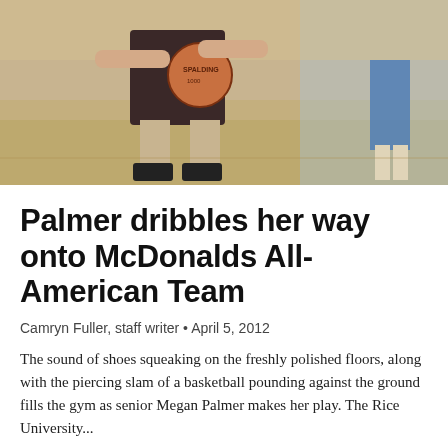[Figure (photo): Basketball player dribbling on a gym floor, shot from waist down showing dark shorts and another player in background]
Palmer dribbles her way onto McDonalds All-American Team
Camryn Fuller, staff writer • April 5, 2012
The sound of shoes squeaking on the freshly polished floors, along with the piercing slam of a basketball pounding against the ground fills the gym as senior Megan Palmer makes her play. The Rice University...
9 boys, girls basketball players selected for all-district